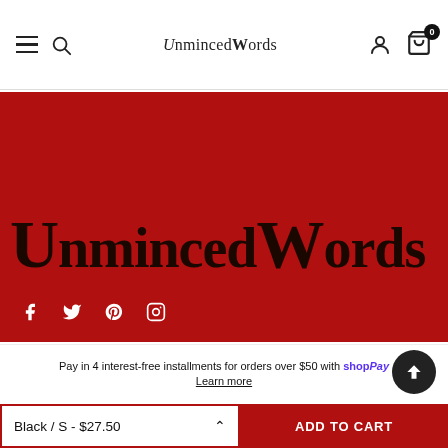UnmincedWords — navigation header with hamburger menu, search, account, and cart (0 items)
[Figure (logo): UnmincedWords brand logo in large serif text on red background, with social media icons (Facebook, Twitter, Pinterest, Instagram) below]
Pay in 4 interest-free installments for orders over $50 with Shop Pay
Learn more
Black / S - $27.50
ADD TO CART